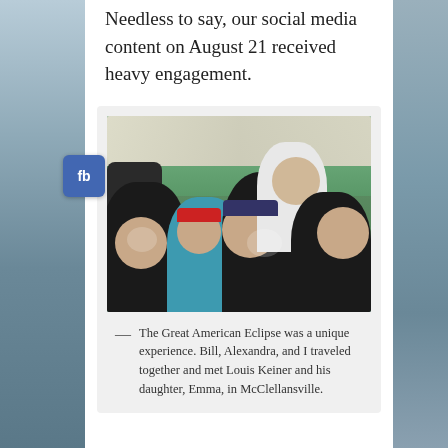moment of totality was indescribable. Needless to say, our social media content on August 21 received heavy engagement.
[Figure (photo): Group photo of five people under a tent canopy outdoors at a solar eclipse viewing event. Several people wear matching black t-shirts with an eclipse graphic. Equipment including telescopes is visible in the background.]
— The Great American Eclipse was a unique experience. Bill, Alexandra, and I traveled together and met Louis Keiner and his daughter, Emma, in McClellansville.